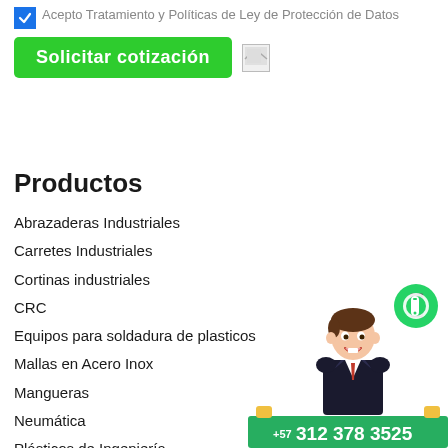Acepto Tratamiento y Políticas de Ley de Protección de Datos
Solicitar cotización
Productos
Abrazaderas Industriales
Carretes Industriales
Cortinas industriales
CRC
Equipos para soldadura de plasticos
Mallas en Acero Inox
Mangueras
Neumática
Plásticos de Ingeniería
[Figure (illustration): Cartoon businessman character with WhatsApp icon and phone number bar showing +57 312 378 3525]